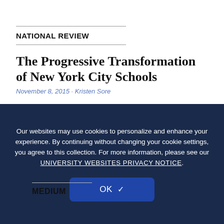NATIONAL REVIEW
The Progressive Transformation of New York City Schools
November 8, 2015 · Kristen Sore
Our websites may use cookies to personalize and enhance your experience. By continuing without changing your cookie settings, you agree to this collection. For more information, please see our UNIVERSITY WEBSITES PRIVACY NOTICE.
OK
MEDIUM